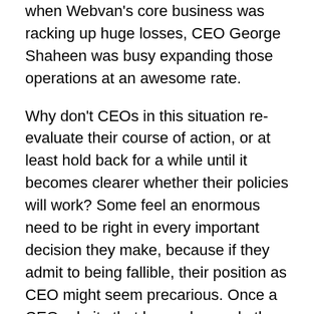when Webvan's core business was racking up huge losses, CEO George Shaheen was busy expanding those operations at an awesome rate.
Why don't CEOs in this situation re-evaluate their course of action, or at least hold back for a while until it becomes clearer whether their policies will work? Some feel an enormous need to be right in every important decision they make, because if they admit to being fallible, their position as CEO might seem precarious. Once a CEO admits that he or she made the wrong call, there will always be people who say the CEO wasn't up to the job. These unrealistic expectations make it exceedingly hard for a CEO to pull back from any chosen course of action, which not surprisingly causes them to push that much harder. That's why leaders at Iridium and Motorola kept investing billions of dollars to launch satellites even after it